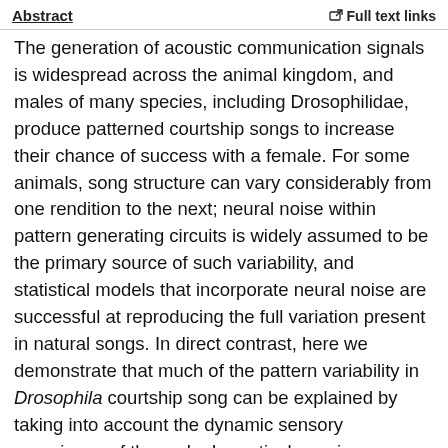Abstract | Full text links
The generation of acoustic communication signals is widespread across the animal kingdom, and males of many species, including Drosophilidae, produce patterned courtship songs to increase their chance of success with a female. For some animals, song structure can vary considerably from one rendition to the next; neural noise within pattern generating circuits is widely assumed to be the primary source of such variability, and statistical models that incorporate neural noise are successful at reproducing the full variation present in natural songs. In direct contrast, here we demonstrate that much of the pattern variability in Drosophila courtship song can be explained by taking into account the dynamic sensory experience of the male. In particular, using a quantitative behavioural assay combined with computational modelling, we find that males use fast modulations in visual and self-motion signals to pattern their songs, a relationship that we show is evolutionarily conserved. Using neural circuit manipulations, we also